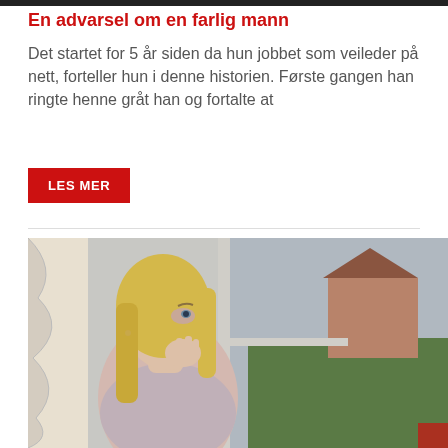En advarsel om en farlig mann
Det startet for 5 år siden da hun jobbet som veileder på nett, forteller hun i denne historien. Første gangen han ringte henne gråt han og fortalte at
LES MER
[Figure (photo): Blonde woman looking anxiously out a window with her hand raised to her mouth, suburban background visible through the window]